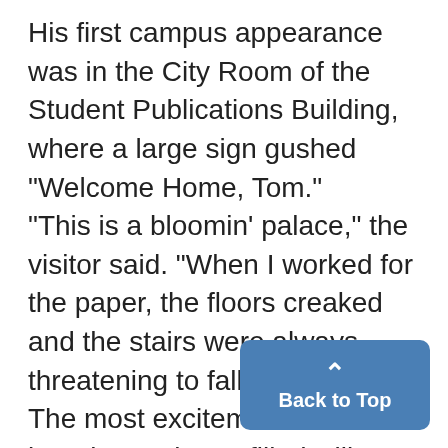His first campus appearance was in the City Room of the Student Publications Building, where a large sign gushed "Welcome Home, Tom." "This is a bloomin' palace," the visitor said. "When I worked for the paper, the floors creaked and the stairs were always threatening to fall in." The most excitement came later in an almost filled Hill Auditorium. "Four more years! Four more years!" one man demanded. La